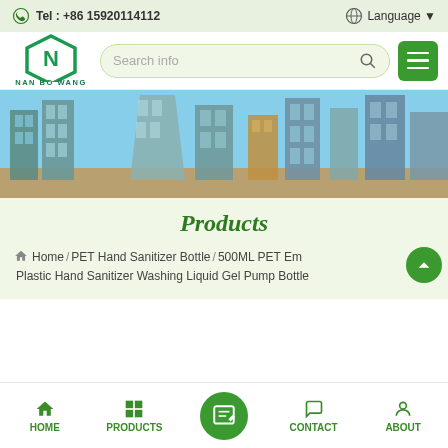Tel : +86 15920114112   Language
[Figure (logo): NAN BO WANG company logo - green hexagon with N letter]
Search info
[Figure (photo): Skyline photo of modern city skyscrapers with blue sky]
Products
Home / PET Hand Sanitizer Bottle / 500ML PET Empty Plastic Hand Sanitizer Washing Liquid Gel Pump Bottle
HOME   PRODUCTS   CONTACT   ABOUT